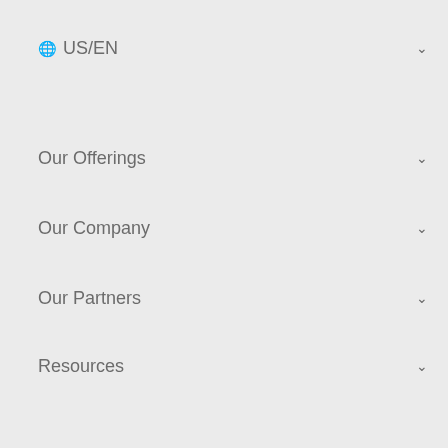🌐 US/EN
Our Offerings
Our Company
Our Partners
Resources
Dell.com
Dell Technologies
Premier